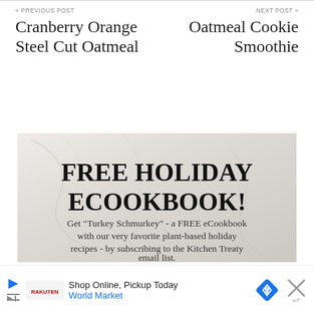« PREVIOUS POST
Cranberry Orange Steel Cut Oatmeal
NEXT POST »
Oatmeal Cookie Smoothie
[Figure (infographic): Promotional banner on marble-textured background with text: FREE HOLIDAY ECOOKBOOK! Get "Turkey Schmurkey" - a FREE eCookbook with our very favorite plant-based holiday recipes - by subscribing to the Kitchen Treaty email list.]
Shop Online, Pickup Today
World Market